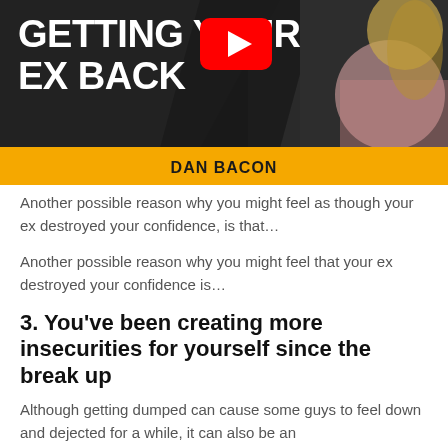[Figure (screenshot): YouTube video thumbnail for 'Getting Your Ex Back' by Dan Bacon, showing bold white text on dark background with YouTube play button icon and a woman with blonde hair in a ponytail wearing a pink top. Yellow bar at bottom with author name Dan Bacon.]
Another possible reason why you might feel as though your ex destroyed your confidence, is that…
Another possible reason why you might feel that your ex destroyed your confidence is…
3. You've been creating more insecurities for yourself since the break up
Although getting dumped can cause some guys to feel down and dejected for a while, it can also be an